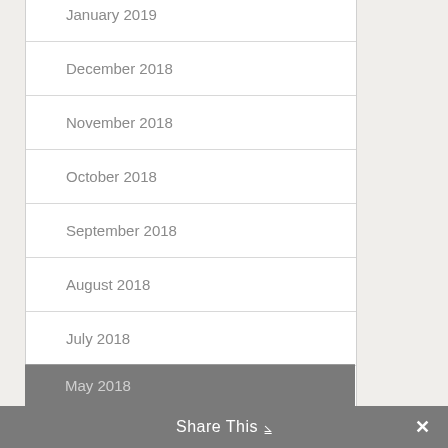January 2019
December 2018
November 2018
October 2018
September 2018
August 2018
July 2018
June 2018
May 2018
Share This ∨  ✕